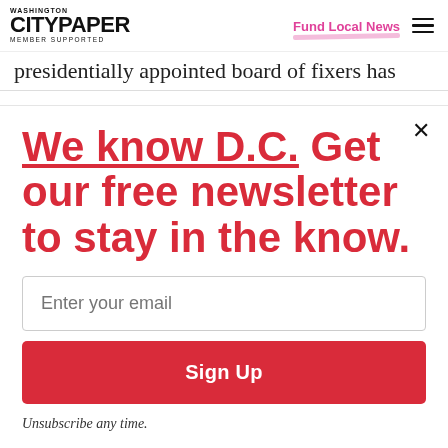Washington City Paper — Member Supported | Fund Local News
presidentially appointed board of fixers has
We know D.C. Get our free newsletter to stay in the know.
Enter your email
Sign Up
Unsubscribe any time.